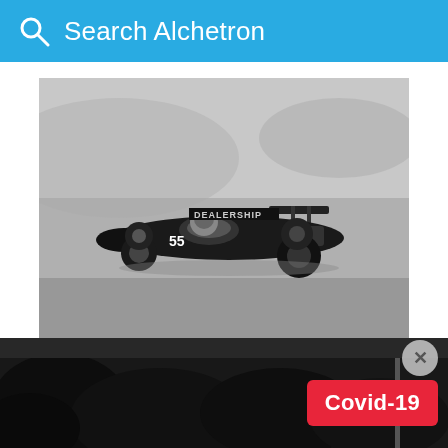Search Alchetron
[Figure (photo): Black and white photo of a vintage open-wheel formula racing car (number 55) on a race track, with DEALERSHIP text on the car's bodywork.]
Lovely opened "Pete Lovely Volkswagen", a Volkswagen dealership in Fife, Washington in 1954 and ran it for 34 years. He also owned "Pete Lovely Racing" which restored vintage race cars.
[Figure (photo): Black and white photo of trees and a pole at bottom of page, partially obscured.]
Covid-19